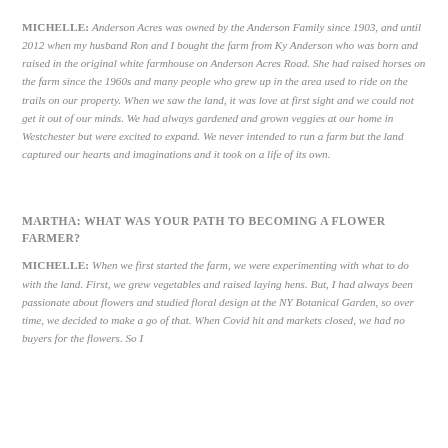MICHELLE: Anderson Acres was owned by the Anderson Family since 1903, and until 2012 when my husband Ron and I bought the farm from Ky Anderson who was born and raised in the original white farmhouse on Anderson Acres Road. She had raised horses on the farm since the 1960s and many people who grew up in the area used to ride on the trails on our property. When we saw the land, it was love at first sight and we could not get it out of our minds. We had always gardened and grown veggies at our home in Westchester but were excited to expand. We never intended to run a farm but the land captured our hearts and imaginations and it took on a life of its own.
MARTHA: WHAT WAS YOUR PATH TO BECOMING A FLOWER FARMER?
MICHELLE: When we first started the farm, we were experimenting with what to do with the land. First, we grew vegetables and raised laying hens. But, I had always been passionate about flowers and studied floral design at the NY Botanical Garden, so over time, we decided to make a go of that. When Covid hit and markets closed, we had no buyers for the flowers. So I